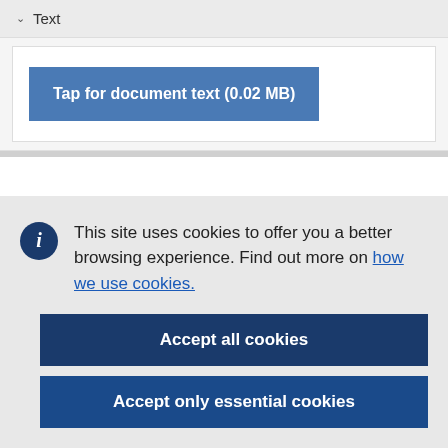Text
Tap for document text (0.02 MB)
This site uses cookies to offer you a better browsing experience. Find out more on how we use cookies.
Accept all cookies
Accept only essential cookies